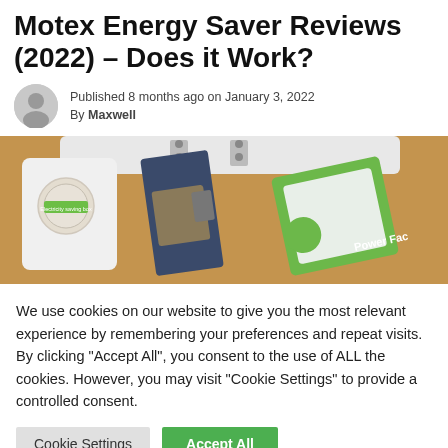Motex Energy Saver Reviews (2022) – Does it Work?
Published 8 months ago on January 3, 2022
By Maxwell
[Figure (photo): Photo of multiple energy-saving plug-in devices including one labeled 'Electricity saving box' and another labeled 'Power Factor', plugged into a power strip on a wooden surface.]
We use cookies on our website to give you the most relevant experience by remembering your preferences and repeat visits. By clicking "Accept All", you consent to the use of ALL the cookies. However, you may visit "Cookie Settings" to provide a controlled consent.